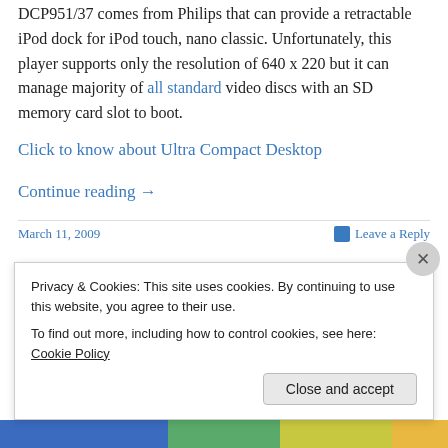This is the latest portable DVD player dubbed as DCP951/37 comes from Philips that can provide a retractable iPod dock for iPod touch, nano classic. Unfortunately, this player supports only the resolution of 640 x 220 but it can manage majority of all standard video discs with an SD memory card slot to boot.
Click to know about Ultra Compact Desktop
Continue reading →
March 11, 2009   Leave a Reply
Privacy & Cookies: This site uses cookies. By continuing to use this website, you agree to their use.
To find out more, including how to control cookies, see here: Cookie Policy